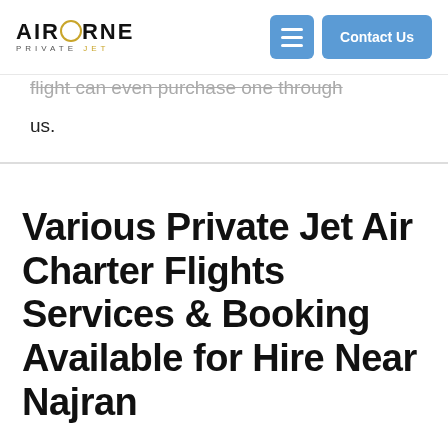AIRBORNE PRIVATE JET — navigation bar with menu and Contact Us button
flight can even purchase one through us.
Various Private Jet Air Charter Flights Services & Booking Available for Hire Near Najran